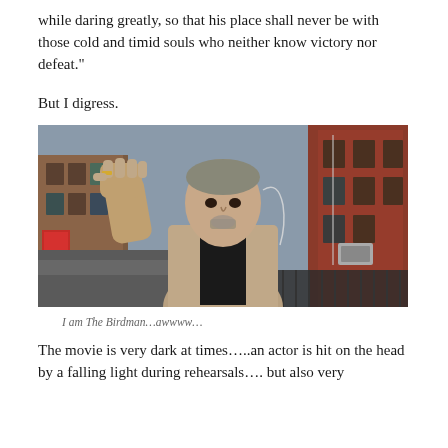while daring greatly, so that his place shall never be with those cold and timid souls who neither know victory nor defeat."
But I digress.
[Figure (photo): A man (actor Michael Keaton as Birdman) standing on a New York City street, raising his fist, with brick buildings visible in the background.]
I am The Birdman…awwww…
The movie is very dark at times…..an actor is hit on the head by a falling light during rehearsals…. but also very